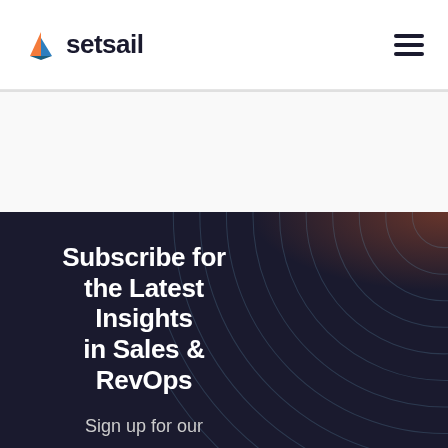setsail
Subscribe for the Latest Insights in Sales & RevOps
Sign up for our